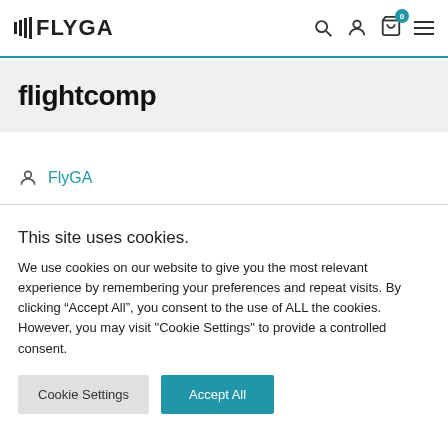FLYGA — navigation header with search, user, cart (0), and menu icons
flightcomp
FlyGA
This site uses cookies.
We use cookies on our website to give you the most relevant experience by remembering your preferences and repeat visits. By clicking “Accept All”, you consent to the use of ALL the cookies. However, you may visit "Cookie Settings" to provide a controlled consent.
Cookie Settings | Accept All